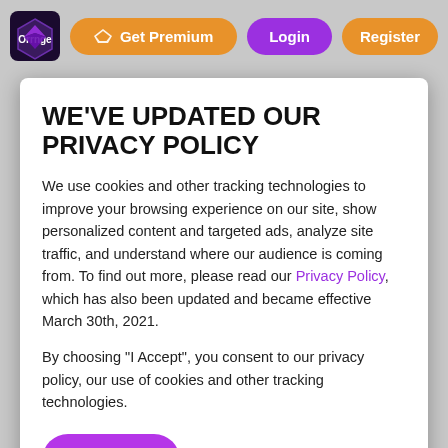[Figure (screenshot): Navigation bar with logo, Get Premium button (orange), Login button (purple), Register button (orange)]
WE'VE UPDATED OUR PRIVACY POLICY
We use cookies and other tracking technologies to improve your browsing experience on our site, show personalized content and targeted ads, analyze site traffic, and understand where our audience is coming from. To find out more, please read our Privacy Policy, which has also been updated and became effective March 30th, 2021.
By choosing "I Accept", you consent to our privacy policy, our use of cookies and other tracking technologies.
[Figure (screenshot): I Accept button (purple/magenta, rounded pill shape)]
[Figure (screenshot): Bottom row of three game cards with badges showing 340, 280, 250 and teal game icons on dark background]